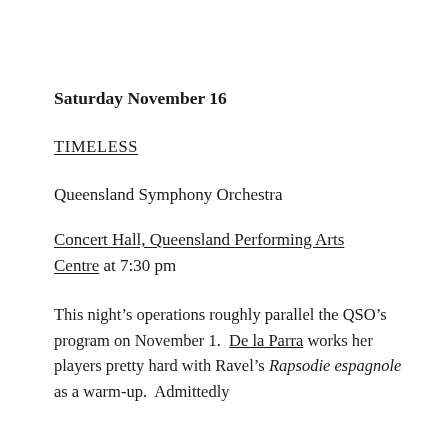Saturday November 16
TIMELESS
Queensland Symphony Orchestra
Concert Hall, Queensland Performing Arts Centre at 7:30 pm
This night’s operations roughly parallel the QSO’s program on November 1.  De la Parra works her players pretty hard with Ravel’s Rapsodie espagnole as a warm-up.  Admittedly